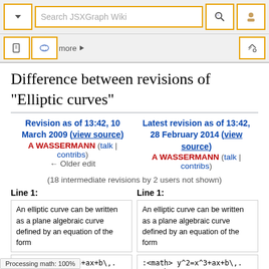[Figure (screenshot): Wiki toolbar top row with dropdown arrow button, search box reading 'Search JSXGraph Wiki', magnifier icon button, and user icon button]
[Figure (screenshot): Wiki toolbar bottom row with page icon, talk/discussion icon, 'more' link with arrow, and tools icon on the right]
Difference between revisions of "Elliptic curves"
Revision as of 13:42, 10 March 2009 (view source)
A WASSERMANN (talk | contribs)
← Older edit
Latest revision as of 13:42, 28 February 2014 (view source)
A WASSERMANN (talk | contribs)
(18 intermediate revisions by 2 users not shown)
Line 1:
Line 1:
An elliptic curve can be written as a plane algebraic curve defined by an equation of the form
An elliptic curve can be written as a plane algebraic curve defined by an equation of the form
:<math>    y^2=x^3+ax+b\,.
</math>
:<math>    y^2=x^3+ax+b\,.
</math>
Processing math: 100%